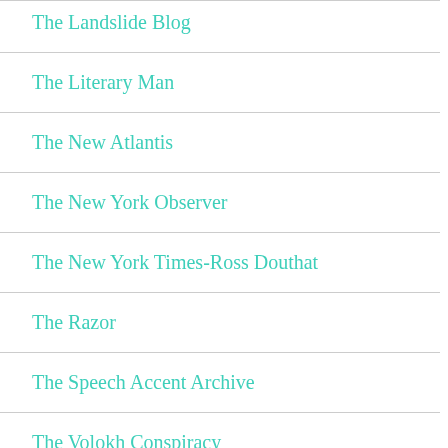The Landslide Blog
The Literary Man
The New Atlantis
The New York Observer
The New York Times-Ross Douthat
The Razor
The Speech Accent Archive
The Volokh Conspiracy